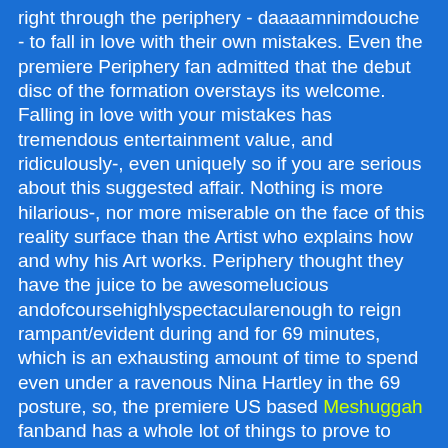right through the periphery - daaaamnimdouche - to fall in love with their own mistakes. Even the premiere Periphery fan admitted that the debut disc of the formation overstays its welcome. Falling in love with your mistakes has tremendous entertainment value, and ridiculously-, even uniquely so if you are serious about this suggested affair. Nothing is more hilarious-, nor more miserable on the face of this reality surface than the Artist who explains how and why his Art works. Periphery thought they have the juice to be awesomelucious andofcoursehighlyspectacularenough to reign rampant/evident during and for 69 minutes, which is an exhausting amount of time to spend even under a ravenous Nina Hartley in the 69 posture, so, the premiere US based Meshuggah fanband has a whole lot of things to prove to Yours, Truly to justify the Godzilla program length. The album is pretty good. Read on to find out what I think about this disc, if you really want to know but you are afraid to ask.
The review, of course will analyze the premiere techniques and methodologies of the spin, but let's start with Spencer Sotelo, because he is the sole ingredient that will reign as the most prominent experience that you will take at face